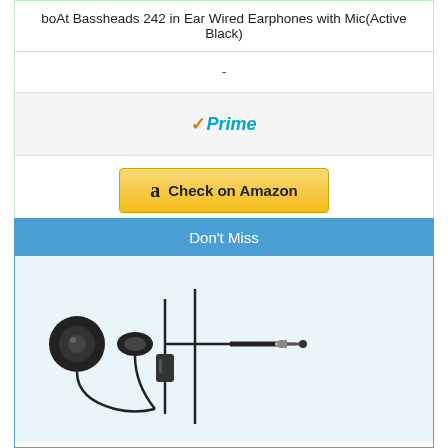boAt Bassheads 242 in Ear Wired Earphones with Mic(Active Black)
-
[Figure (logo): Amazon Prime logo with checkmark]
[Figure (other): Check on Amazon button]
Don't Miss
[Figure (photo): Product image of in-ear wired earphones with mic showing earbuds and components]